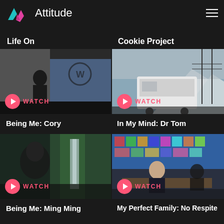Attitude
Life On
Cookie Project
[Figure (screenshot): Video thumbnail showing a person in front of a graffiti wall with a WATCH button overlay]
Being Me: Cory
[Figure (screenshot): Video thumbnail showing a vehicle with mountains in the background with a WATCH button overlay]
In My Mind: Dr Tom
[Figure (screenshot): Video thumbnail showing a person's face near a waterfall with a WATCH button overlay]
Being Me: Ming Ming
[Figure (screenshot): Video thumbnail showing a classroom scene with students with a WATCH button overlay]
My Perfect Family: No Respite